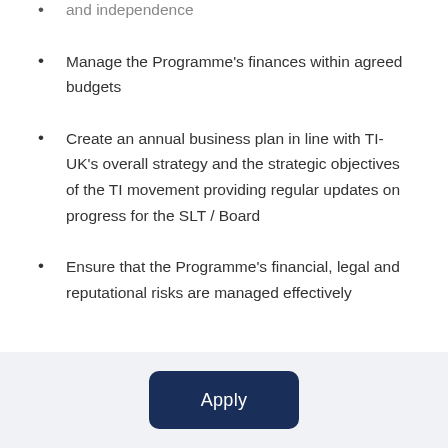and independence
Manage the Programme's finances within agreed budgets
Create an annual business plan in line with TI-UK's overall strategy and the strategic objectives of the TI movement providing regular updates on progress for the SLT / Board
Ensure that the Programme's financial, legal and reputational risks are managed effectively